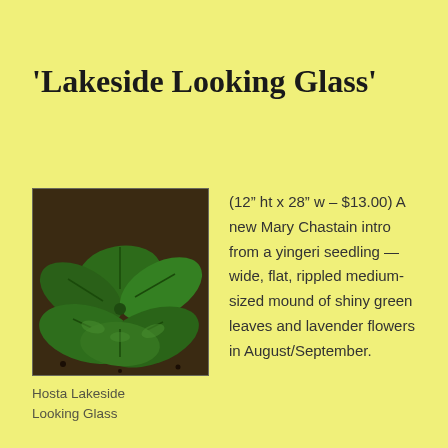'Lakeside Looking Glass'
[Figure (photo): Photograph of Hosta Lakeside Looking Glass plant showing wide, flat, shiny green leaves arranged in a mound]
Hosta Lakeside Looking Glass
(12" ht x 28" w – $13.00) A new Mary Chastain intro from a yingeri seedling —wide, flat, rippled medium-sized mound of shiny green leaves and lavender flowers in August/September.